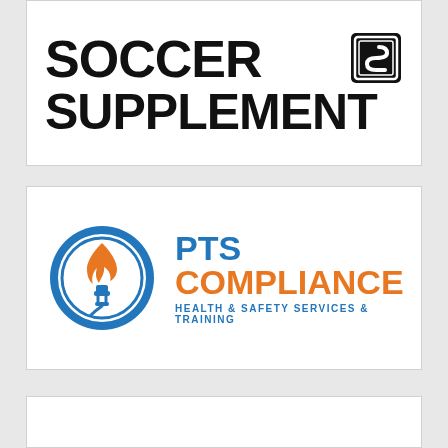[Figure (logo): Soccer Supplement logo — large bold black text reading SOCCER on top row with a stylized 'S' shield icon to the right, and SUPPLEMENT on the bottom row, all caps bold condensed font on white background]
[Figure (logo): PTS Compliance logo — circular icon with blue ring containing flame and electrical plug graphic in orange/blue, next to bold text 'PTS' in dark blue and 'COMPLIANCE' in orange, with tagline 'HEALTH & SAFETY SERVICES & TRAINING' in blue below]
[Figure (logo): Third logo card — white rectangle, partially visible at bottom of page, content not fully shown]